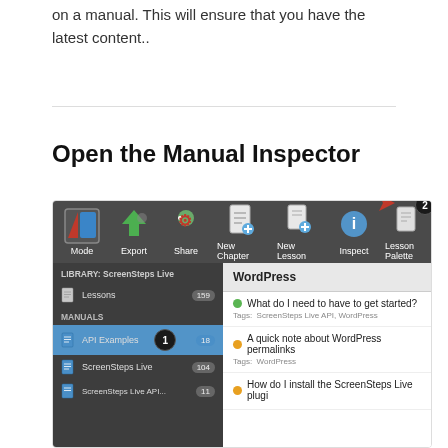on a manual. This will ensure that you have the latest content..
Open the Manual Inspector
[Figure (screenshot): Screenshot of ScreenSteps Live application interface showing the toolbar with Mode, Export, Share, New Chapter, New Lesson, Inspect, and Lesson Palette buttons. The left sidebar shows LIBRARY: ScreenSteps Live with Lessons (159), MANUALS section with API Examples (18, highlighted, labeled 1), ScreenSteps Live (104), and ScreenSteps Live API (11). The right panel shows WordPress with a list of lessons including 'What do I need to have to get started?', 'A quick note about WordPress permalinks', and 'How do I install the ScreenSteps Live plugi'. Number badges 1 and 2 are visible with a red arrow pointing to the Inspect button.]